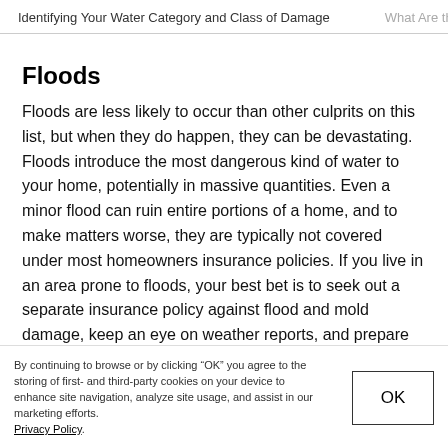Identifying Your Water Category and Class of Damage   What Are the
Floods
Floods are less likely to occur than other culprits on this list, but when they do happen, they can be devastating. Floods introduce the most dangerous kind of water to your home, potentially in massive quantities. Even a minor flood can ruin entire portions of a home, and to make matters worse, they are typically not covered under most homeowners insurance policies. If you live in an area prone to floods, your best bet is to seek out a separate insurance policy against flood and mold damage, keep an eye on weather reports, and prepare accordingly.
By continuing to browse or by clicking “OK” you agree to the storing of first- and third-party cookies on your device to enhance site navigation, analyze site usage, and assist in our marketing efforts. Privacy Policy.